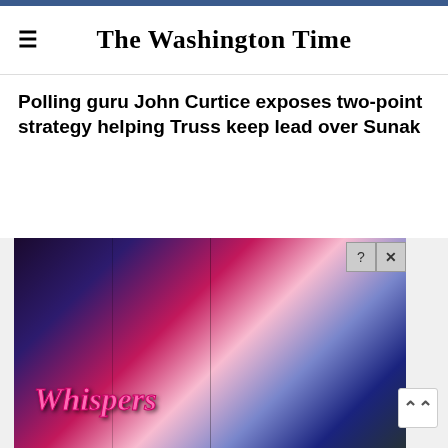The Washington Time
Polling guru John Curtice exposes two-point strategy helping Truss keep lead over Sunak
[Figure (illustration): Whispers mobile game advertisement banner with romantic illustrated characters — couples in dramatic lighting, anime/illustrated art style. 'Whispers' logo in pink italic text. Close/question mark buttons in top right corner.]